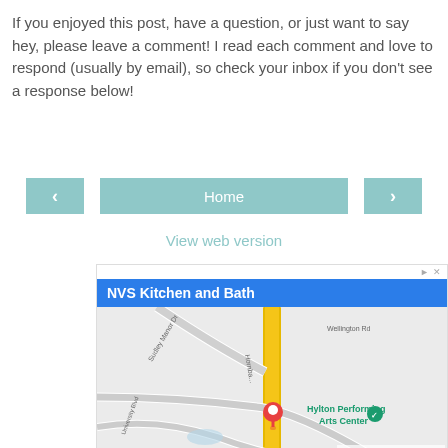If you enjoyed this post, have a question, or just want to say hey, please leave a comment! I read each comment and love to respond (usually by email), so check your inbox if you don't see a response below!
[Figure (screenshot): Navigation buttons: left arrow, Home button, right arrow]
View web version
[Figure (screenshot): Google Maps advertisement for NVS Kitchen and Bath showing a map with a location pin near Hylton Performing Arts Center. Map data ©2022. OPEN 9AM-5PM shown at bottom.]